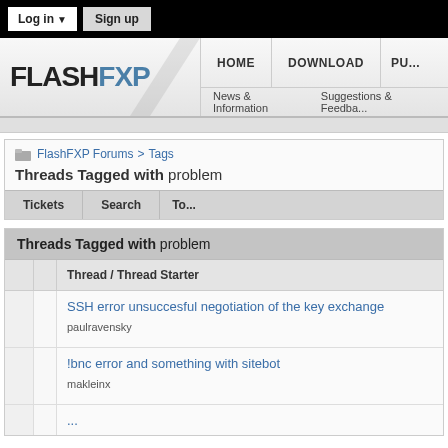Log in ▼   Sign up
[Figure (logo): FlashFXP logo with diagonal slash graphic]
HOME   DOWNLOAD   PU...   News & Information   Suggestions & Feedba...
FlashFXP Forums > Tags
Threads Tagged with problem
Tickets   Search   To...
Threads Tagged with problem
| Thread / Thread Starter |
| --- |
| SSH error unsuccesful negotiation of the key exchange
paulravensky |
| !bnc error and something with sitebot
makleinx |
| ... |